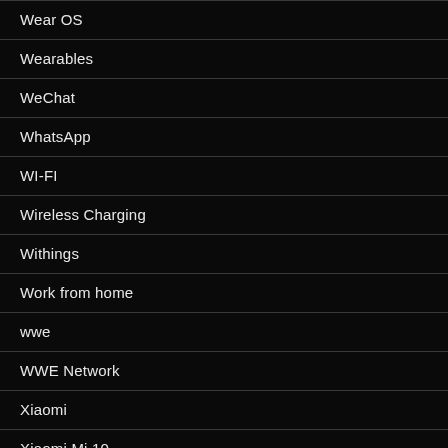Wear OS
Wearables
WeChat
WhatsApp
WI-FI
Wireless Charging
Withings
Work from home
wwe
WWE Network
Xiaomi
Xiaomi Mi 10